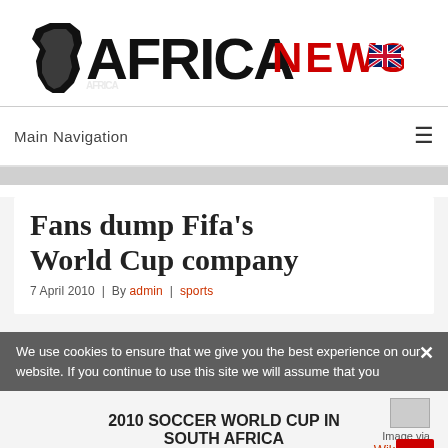[Figure (logo): Africa News logo with Africa continent silhouette, bold black AFRICA text, red NEWS text, and UK flag icon]
Main Navigation ☰
Fans dump Fifa's World Cup company
7 April 2010 | By admin | sports
We use cookies to ensure that we give you the best experience on our website. If you continue to use this site we will assume that you
2010 SOCCER WORLD CUP IN SOUTH AFRICA
Many local and international
Image via Wikipedia